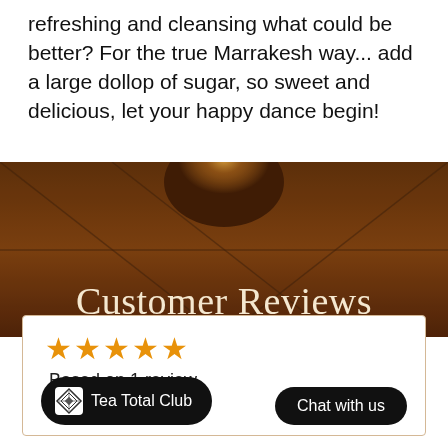refreshing and cleansing what could be better? For the true Marrakesh way... add a large dollop of sugar, so sweet and delicious, let your happy dance begin!
[Figure (photo): Dark warm-toned banner with decorative X lines and a glowing light, overlaid with large serif text 'Customer Reviews' in cream/gold color]
Customer Reviews
★★★★★ Based on 1 review
Write a review